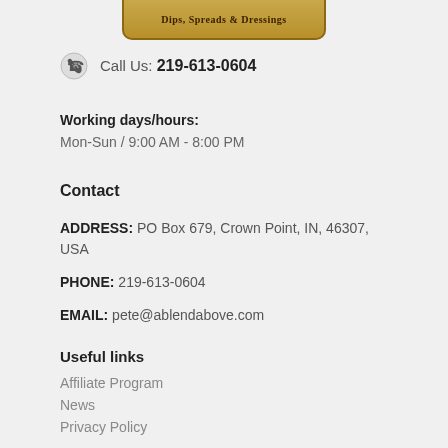[Figure (logo): Dips, Spreads & Dressings logo banner]
Call Us: 219-613-0604
Working days/hours:
Mon-Sun / 9:00 AM - 8:00 PM
Contact
ADDRESS: PO Box 679, Crown Point, IN, 46307, USA
PHONE: 219-613-0604
EMAIL: pete@ablendabove.com
Useful links
Affiliate Program
News
Privacy Policy